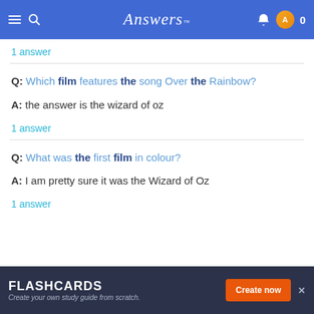Answers
1 answer
Q: Which film features the song Over the Rainbow?
A: the answer is the wizard of oz
1 answer
Q: What was the first film in colour?
A: I am pretty sure it was the Wizard of Oz
1 answer
FLASHCARDS Create your own study guide from scratch. Create now